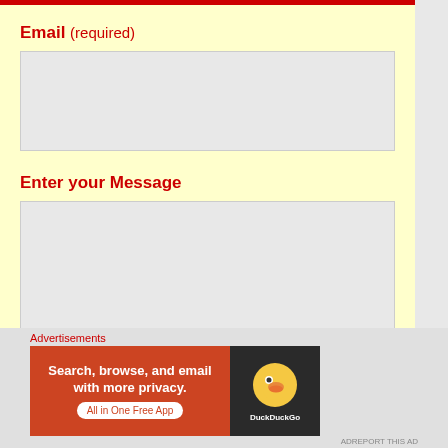Email (required)
Enter your Message
Advertisements
[Figure (other): DuckDuckGo advertisement banner: 'Search, browse, and email with more privacy. All in One Free App' with DuckDuckGo logo on dark background]